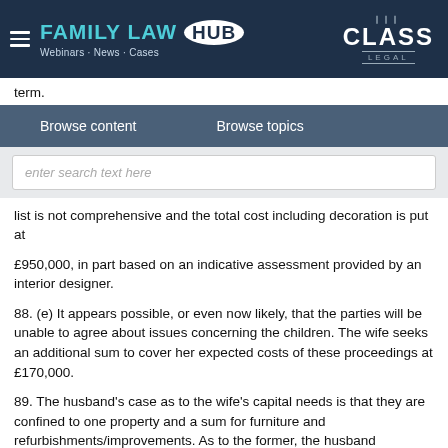FAMILY LAW HUB · Webinars · News · Cases · CLASS LEGAL
term.
Browse content   Browse topics
enter search text here
list is not comprehensive and the total cost including decoration is put at
£950,000, in part based on an indicative assessment provided by an interior designer.
88. (e) It appears possible, or even now likely, that the parties will be unable to agree about issues concerning the children. The wife seeks an additional sum to cover her expected costs of these proceedings at £170,000.
89. The husband's case as to the wife's capital needs is that they are confined to one property and a sum for furniture and refurbishments/improvements. As to the former, the husband contends that the wife's housing need is met by AB. It was a property chosen by her and is broadly comparable to the former matrimonial home.